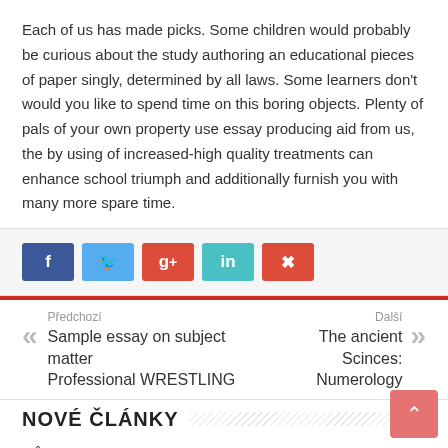Each of us has made picks. Some children would probably be curious about the study authoring an educational pieces of paper singly, determined by all laws. Some learners don't would you like to spend time on this boring objects. Plenty of pals of your own property use essay producing aid from us, the by using of increased-high quality treatments can enhance school triumph and additionally furnish you with many more spare time.
[Figure (infographic): Social share buttons: Facebook (blue), Twitter (light blue), Google+ (red), LinkedIn (teal), Pinterest (red)]
Předchozí
Sample essay on subject matter Professional WRESTLING
Další
The ancient Scinces: Numerology
NOVÉ ČLÁNKY
Půjčka do 20 000 Kč na cokoliv